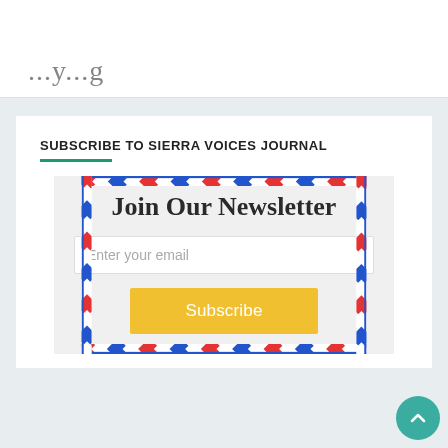...y...g
SUBSCRIBE TO SIERRA VOICES JOURNAL
[Figure (infographic): Newsletter subscription box styled as an airmail envelope with red/white/blue diagonal stripe border, containing 'Join Our Newsletter' heading, an email input field with placeholder 'Enter your email', and a yellow 'Subscribe' button]
[Figure (other): Teal circular scroll-to-top button with upward chevron arrow in bottom right corner]